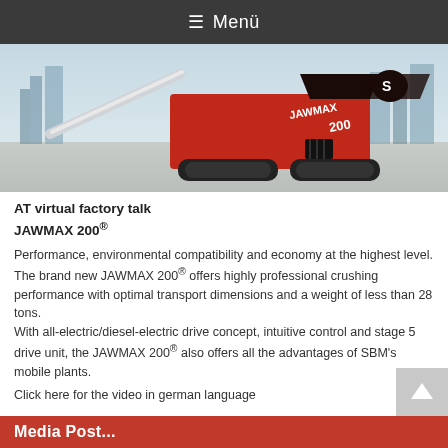≡ Menü
[Figure (photo): Red and black JAWMAX 200 mobile jaw crusher machine on a concrete surface with a city skyline in the background]
AT virtual factory talk JAWMAX 200®
Performance, environmental compatibility and economy at the highest level.
The brand new JAWMAX 200® offers highly professional crushing performance with optimal transport dimensions and a weight of less than 28 tons.
With all-electric/diesel-electric drive concept, intuitive control and stage 5 drive unit, the JAWMAX 200® also offers all the advantages of SBM's mobile plants.
Click here for the video in german language
Media Post...